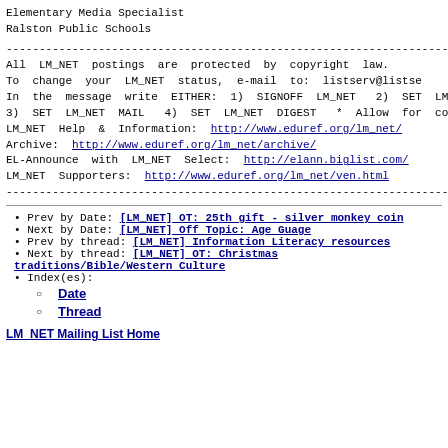Elementary Media Specialist
Ralston Public Schools
--------------------------------------------------------------------------------
All LM_NET postings are protected by copyright law.
To change your LM_NET status, e-mail to: listserv@listse
In the message write EITHER: 1) SIGNOFF LM_NET  2) SET LM
3) SET LM_NET MAIL  4) SET LM_NET DIGEST  * Allow for co
LM_NET Help & Information: http://www.eduref.org/lm_net/
Archive: http://www.eduref.org/lm_net/archive/
EL-Announce with LM_NET Select: http://elann.biglist.com/
LM_NET Supporters: http://www.eduref.org/lm_net/ven.html
--------------------------------------------------------------------------------
Prev by Date: [LM_NET] OT: 25th gift - silver monkey coin
Next by Date: [LM_NET] Off Topic: Age Guage
Prev by thread: [LM_NET] Information Literacy resources
Next by thread: [LM_NET] OT: Christmas traditions/Bible/Western Culture
Index(es): Date, Thread
LM_NET Mailing List Home